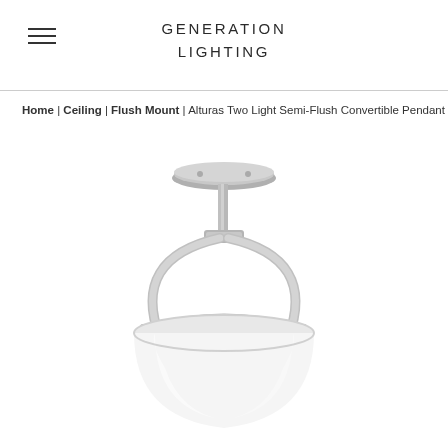GENERATION LIGHTING
Home | Ceiling | Flush Mount | Alturas Two Light Semi-Flush Convertible Pendant
[Figure (photo): Alturas Two Light Semi-Flush Convertible Pendant in brushed nickel finish, featuring a spherical metal cage frame with two curved arms and a frosted white glass bowl shade, ceiling canopy at top.]